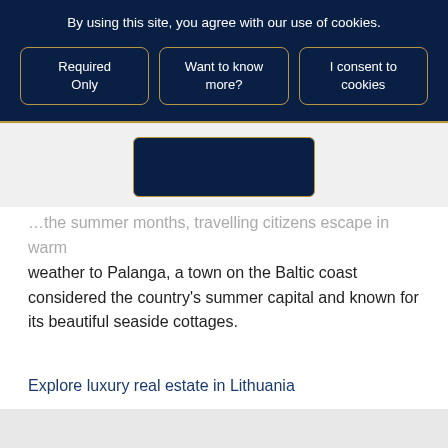By using this site, you agree with our use of cookies.
Required Only
Want to know more?
I consent to cookies
…the summer months, travelling citizens escape in warm weather to Palanga, a town on the Baltic coast considered the country's summer capital and known for its beautiful seaside cottages.
Explore luxury real estate in Lithuania